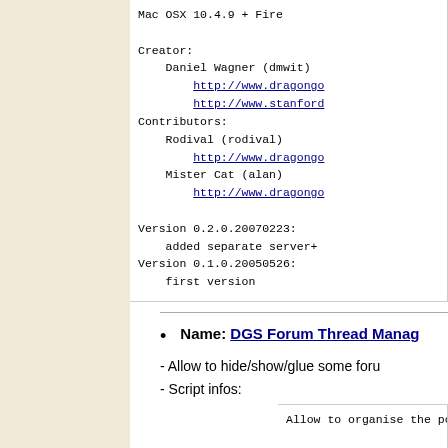Mac OSX 10.4.9 + Fire...
Creator:
    Daniel Wagner (dmwit)
        http://www.dragongo...
        http://www.stanford...
Contributors:
    Rodival (rodival)
        http://www.dragongo...
    Mister Cat (alan)
        http://www.dragongo...

Version 0.2.0.20070223:
    added separate server+...
Version 0.1.0.20050526:
    first version
Name: DGS Forum Thread Manag...
- Allow to hide/show/glue some foru...
- Script infos:
Allow to organise the po...

Add two buttons to each...
- a Collapse/Expand butt...
    all its responses.
- Also/Deselect...